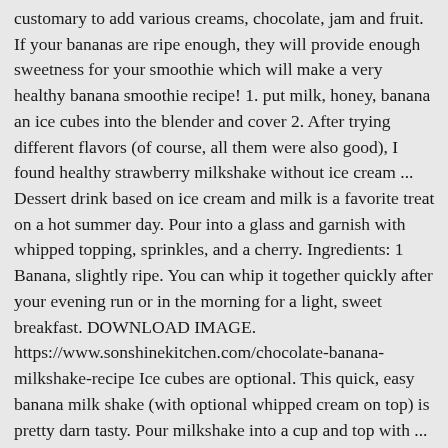customary to add various creams, chocolate, jam and fruit. If your bananas are ripe enough, they will provide enough sweetness for your smoothie which will make a very healthy banana smoothie recipe! 1. put milk, honey, banana an ice cubes into the blender and cover 2. After trying different flavors (of course, all them were also good), I found healthy strawberry milkshake without ice cream ... Dessert drink based on ice cream and milk is a favorite treat on a hot summer day. Pour into a glass and garnish with whipped topping, sprinkles, and a cherry. Ingredients: 1 Banana, slightly ripe. You can whip it together quickly after your evening run or in the morning for a light, sweet breakfast. DOWNLOAD IMAGE. https://www.sonshinekitchen.com/chocolate-banana-milkshake-recipe Ice cubes are optional. This quick, easy banana milk shake (with optional whipped cream on top) is pretty darn tasty. Pour milkshake into a cup and top with ... https://www.chiquita.com/recipes/smoothies-shakes/easy-banana-shake A generous portion of ice cream, a splash of milk and some flavoring. whatever you use in replace of ice-cream (milk, soy, coffee or water) make sure the fruit you use (if you choose to) has been put into the freezer, just do not leave it in there until frozen! 1 large, very ripe banana. If you would like to make a healthy banana milkshake, substitute vanilla ice cream with vanilla frozen yogurt.